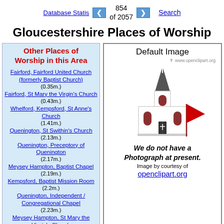Database Statistics | 854 of 2057 | Search
Gloucestershire Places of Worship
Other Places of Worship in this Area
Fairford, Fairford United Church (formerly Baptist Church) (0.35m.)
Fairford, St Mary the Virgin's Church (0.43m.)
Whelford, Kempsford, St Anne's Church (1.41m.)
Quenington, St Swithin's Church (2.13m.)
Quenington, Preceptory of Quenington (2.17m.)
Meysey Hampton, Baptist Chapel (2.19m.)
Kempsford, Baptist Mission Room (2.2m.)
Quenington, Independent / Congregational Chapel (2.23m.)
Meysey Hampton, St Mary the Virgin's Church (2.24m.)
Quenington, Plymouth Brethren Chapel (1st) (2.25m.)
[Figure (illustration): Default church image placeholder with cartoon church illustration. Text says 'Default Image', 'www.openclipart.org', 'We do not have a Photograph at present.', 'Image by courtesy of openclipart.org']